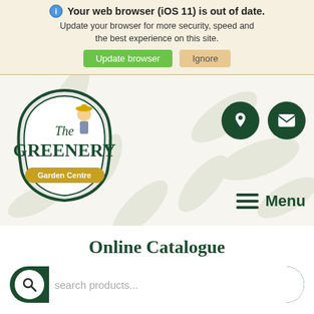Your web browser (iOS 11) is out of date. Update your browser for more security, speed and the best experience on this site.
[Figure (logo): The Greenery Garden Centre logo — oval badge with dark green border, gardener character, serif text 'The GREENERY', yellow banner 'Garden Centre']
Online Catalogue
search products...